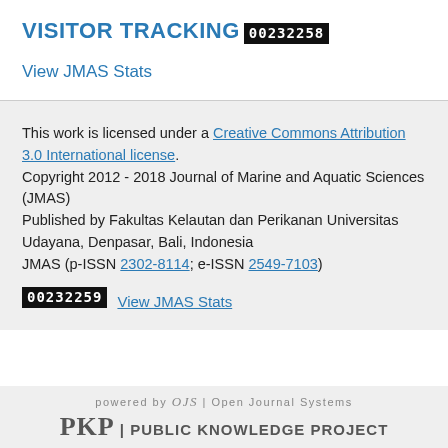VISITOR TRACKING
00232258
View JMAS Stats
This work is licensed under a Creative Commons Attribution 3.0 International license. Copyright 2012 - 2018 Journal of Marine and Aquatic Sciences (JMAS) Published by Fakultas Kelautan dan Perikanan Universitas Udayana, Denpasar, Bali, Indonesia JMAS (p-ISSN 2302-8114; e-ISSN 2549-7103)
00232259 View JMAS Stats
powered by OJS | Open Journal Systems PKP | PUBLIC KNOWLEDGE PROJECT